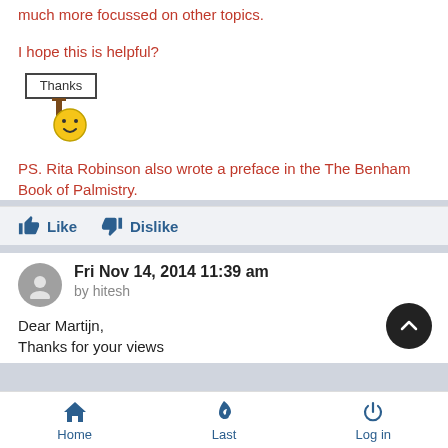much more focussed on other topics.
I hope this is helpful?
[Figure (illustration): A smiley face emoticon holding a 'Thanks' sign on a stick]
PS. Rita Robinson also wrote a preface in the The Benham Book of Palmistry.
Like   Dislike
Fri Nov 14, 2014 11:39 am
by hitesh
Dear Martijn,
Thanks for your views
Home   Last   Log in